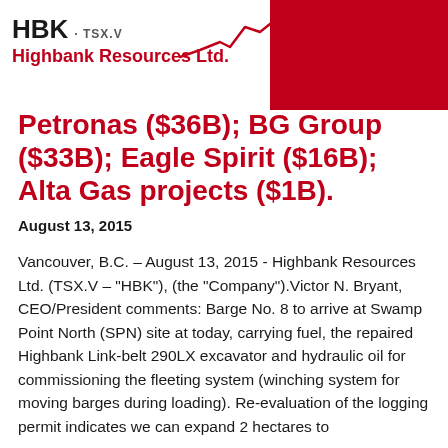HBK · TSX.V Highbank Resources Ltd.
Petronas ($36B); BG Group ($33B); Eagle Spirit ($16B); Alta Gas projects ($1B).
August 13, 2015
Vancouver, B.C. – August 13, 2015 - Highbank Resources Ltd. (TSX.V – "HBK"), (the "Company").Victor N. Bryant, CEO/President comments: Barge No. 8 to arrive at Swamp Point North (SPN) site at today, carrying fuel, the repaired Highbank Link-belt 290LX excavator and hydraulic oil for commissioning the fleeting system (winching system for moving barges during loading). Re-evaluation of the logging permit indicates we can expand 2 hectares to